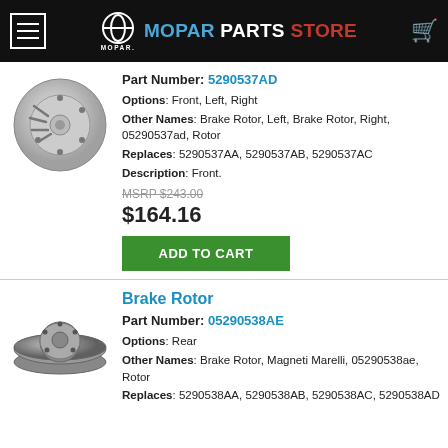MOPAR PARTS STORE
Part Number: 5290537AD
Options: Front, Left, Right
Other Names: Brake Rotor, Left, Brake Rotor, Right, 05290537ad, Rotor
Replaces: 5290537AA, 5290537AB, 5290537AC
Description: Front.
MSRP $243.00
$164.16
ADD TO CART
[Figure (photo): Brake rotor disc, slotted, front view]
Brake Rotor
Part Number: 05290538AE
Options: Rear
Other Names: Brake Rotor, Magneti Marelli, 05290538ae, Rotor
Replaces: 5290538AA, 5290538AB, 5290538AC, 5290538AD
[Figure (photo): Brake rotor disc, rear view, darker finish]